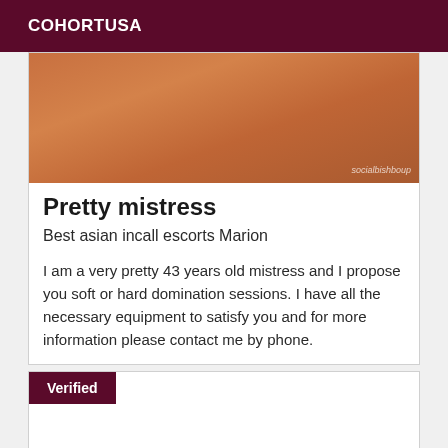COHORTUSA
[Figure (photo): Close-up photo of a person, warm orange/skin tones, with a small watermark text in bottom right corner]
Pretty mistress
Best asian incall escorts Marion
I am a very pretty 43 years old mistress and I propose you soft or hard domination sessions. I have all the necessary equipment to satisfy you and for more information please contact me by phone.
Verified